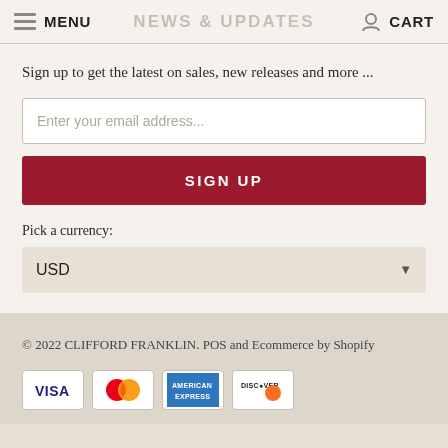NEWS & UPDATES | MENU | CART
Sign up to get the latest on sales, new releases and more ...
Enter your email address...
SIGN UP
Pick a currency:
USD
© 2022 CLIFFORD FRANKLIN. POS and Ecommerce by Shopify